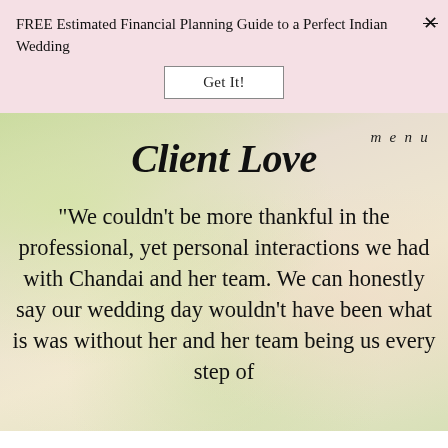FREE Estimated Financial Planning Guide to a Perfect Indian Wedding
Get It!
Client Love
menu
"We couldn't be more thankful in the professional, yet personal interactions we had with Chandai and her team. We can honestly say our wedding day wouldn't have been what is was without her and her team being us every step of